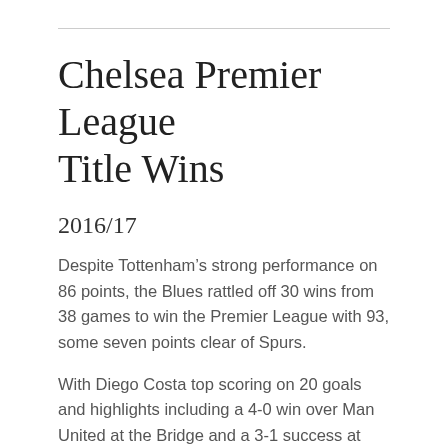Chelsea Premier League Title Wins
2016/17
Despite Tottenham’s strong performance on 86 points, the Blues rattled off 30 wins from 38 games to win the Premier League with 93, some seven points clear of Spurs.
With Diego Costa top scoring on 20 goals and highlights including a 4-0 win over Man United at the Bridge and a 3-1 success at Man City, this proved to be an outstanding season for Antonio Conte’s men.
2014/15